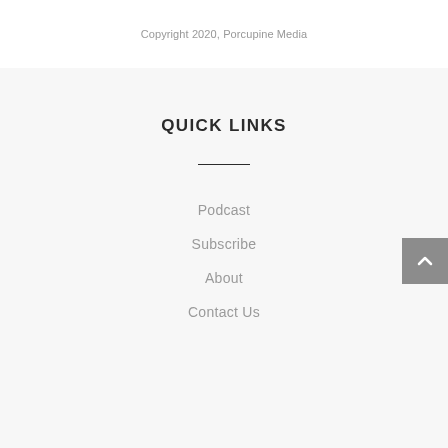Copyright 2020, Porcupine Media
QUICK LINKS
Podcast
Subscribe
About
Contact Us